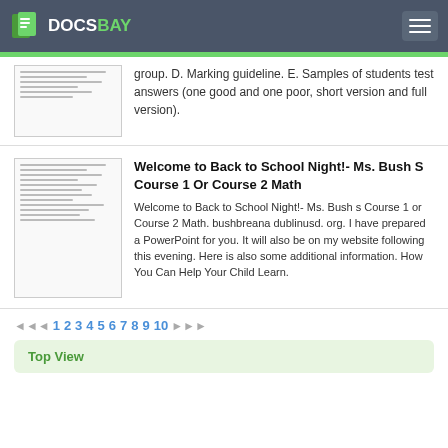DOCSBAY
group. D. Marking guideline. E. Samples of students test answers (one good and one poor, short version and full version).
Welcome to Back to School Night!- Ms. Bush S Course 1 Or Course 2 Math
Welcome to Back to School Night!- Ms. Bush s Course 1 or Course 2 Math. bushbreana dublinusd. org. I have prepared a PowerPoint for you. It will also be on my website following this evening. Here is also some additional information. How You Can Help Your Child Learn.
◄◄◄ 1 2 3 4 5 6 7 8 9 10 ►►►
Top View